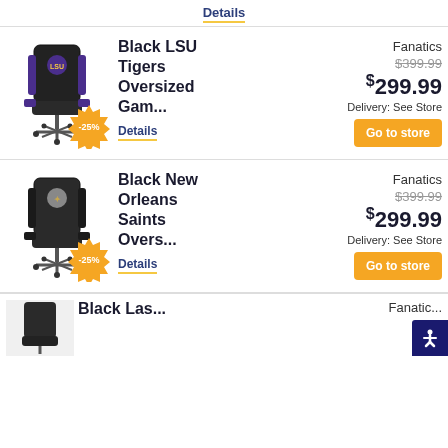Details
[Figure (photo): Black LSU Tigers oversized gaming chair with purple accents and LSU logo, with -25% discount badge]
Black LSU Tigers Oversized Gam...
Details
Fanatics
$399.99
$299.99
Delivery: See Store
Go to store
[Figure (photo): Black New Orleans Saints oversized gaming chair with Saints fleur-de-lis logo, with -25% discount badge]
Black New Orleans Saints Overs...
Details
Fanatics
$399.99
$299.99
Delivery: See Store
Go to store
[Figure (photo): Partial view of third product chair]
Black Las...
Fanatic...